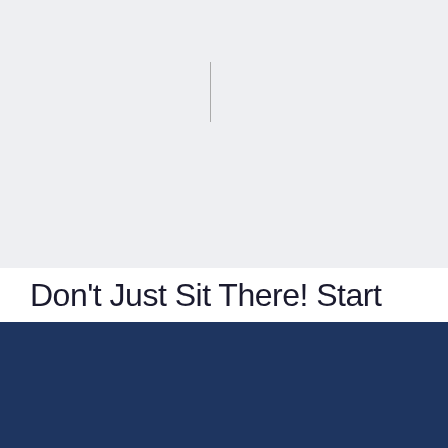[Figure (screenshot): Light gray top section with a blinking text cursor line visible near the top center]
Don't Just Sit There! Start
Menú
[Figure (logo): Make IT Real logo — circular icon with slash on dark navy background with tagline Make IT Real and copyright 2015 END TO END]